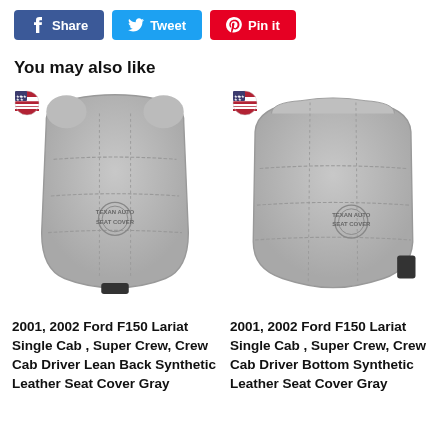[Figure (screenshot): Social share buttons row: Facebook Share (blue), Twitter Tweet (light blue), Pinterest Pin it (red)]
You may also like
[Figure (photo): Gray synthetic leather seat cover - driver lean back. Texan Auto Seat Cover logo. US flag badge top left.]
2001, 2002 Ford F150 Lariat Single Cab , Super Crew, Crew Cab Driver Lean Back Synthetic Leather Seat Cover Gray
[Figure (photo): Gray synthetic leather seat cover - driver bottom. Texan Auto Seat Cover logo. US flag badge top left.]
2001, 2002 Ford F150 Lariat Single Cab , Super Crew, Crew Cab Driver Bottom Synthetic Leather Seat Cover Gray